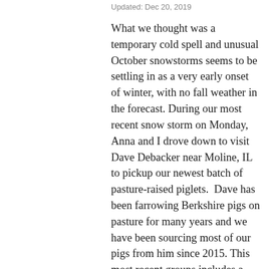Updated: Dec 20, 2019
What we thought was a temporary cold spell and unusual October snowstorms seems to be settling in as a very early onset of winter, with no fall weather in the forecast. During our most recent snow storm on Monday, Anna and I drove down to visit Dave Debacker near Moline, IL to pickup our newest batch of pasture-raised piglets.  Dave has been farrowing Berkshire pigs on pasture for many years and we have been sourcing most of our pigs from him since 2015. This most recent groups includes a mix of purebred Berkshires, Berkshire-Hampshire cross (the oreo pigs), and Berkshire-Duroc cross (the red heads). They are all very energetic and enjoy